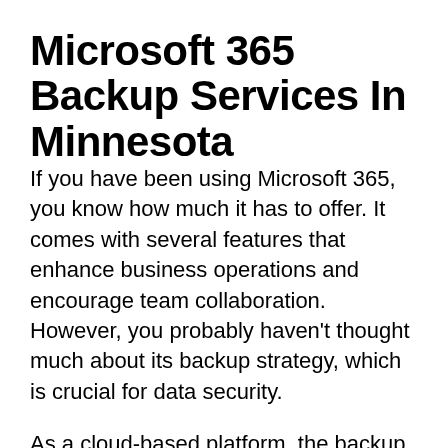Microsoft 365 Backup Services In Minnesota
If you have been using Microsoft 365, you know how much it has to offer. It comes with several features that enhance business operations and encourage team collaboration. However, you probably haven't thought much about its backup strategy, which is crucial for data security.
As a cloud-based platform, the backup should be automatic and reliable. Surprisingly, Microsoft 365 does not back up your data, and it publicly admits that it is not responsible for it. This tells you that you are